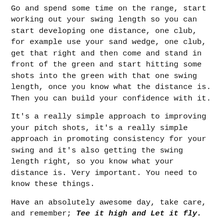Go and spend some time on the range, start working out your swing length so you can start developing one distance, one club, for example use your sand wedge, one club, get that right and then come and stand in front of the green and start hitting some shots into the green with that one swing length, once you know what the distance is. Then you can build your confidence with it.
It's a really simple approach to improving your pitch shots, it's a really simple approach in promoting consistency for your swing and it's also getting the swing length right, so you know what your distance is. Very important. You need to know these things.
Have an absolutely awesome day, take care, and remember; Tee it high and Let it fly.
To your golfing success,
If you enjoyed today's tip "#142 Web TV: Pick